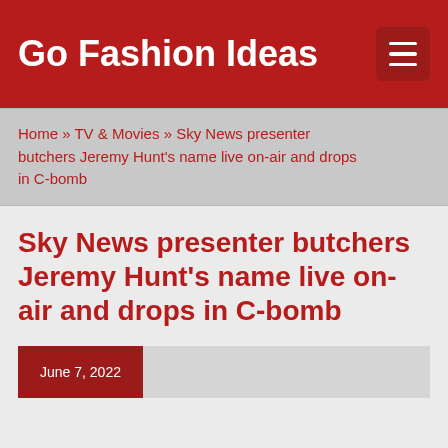Go Fashion Ideas
Home » TV & Movies » Sky News presenter butchers Jeremy Hunt's name live on-air and drops in C-bomb
Sky News presenter butchers Jeremy Hunt's name live on-air and drops in C-bomb
June 7, 2022